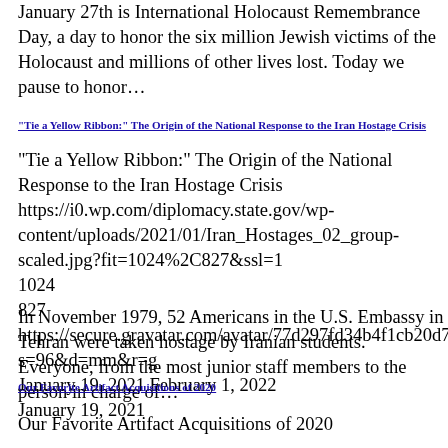January 27th is International Holocaust Remembrance Day, a day to honor the six million Jewish victims of the Holocaust and millions of other lives lost. Today we pause to honor…
"Tie a Yellow Ribbon:" The Origin of the National Response to the Iran Hostage Crisis
"Tie a Yellow Ribbon:" The Origin of the National Response to the Iran Hostage Crisis
https://i0.wp.com/diplomacy.state.gov/wp-content/uploads/2021/01/Iran_Hostages_02_group-scaled.jpg?fit=1024%2C827&ssl=1
1024
827
https://secure.gravatar.com/avatar/77d297fd34b4f1cb20d77ddb5ccfd
s=96&d=mm&r=g
January 19, 2021 February 1, 2022
January 19, 2021
In November 1979, 52 Americans in the U.S. Embassy in Tehran were taken hostage by Iranian students. Everyone, from the most junior staff members to the person in charge of…
Our Favorite Artifact Acquisitions of 2020
Our Favorite Artifact Acquisitions of 2020